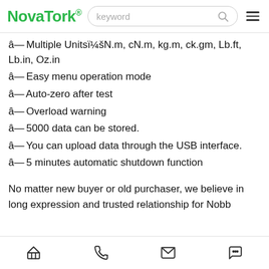NovaTork® [search: keyword] [menu]
â—¼ Multiple Unitsï¼šN.m, cN.m, kg.m, ck.gm, Lb.ft, Lb.in, Oz.in
â—¼ Easy menu operation mode
â—¼ Auto-zero after test
â—¼ Overload warning
â—¼ 5000 data can be stored.
â—¼ You can upload data through the USB interface.
â—¼ 5 minutes automatic shutdown function
No matter new buyer or old purchaser, we believe in long expression and trusted relationship for Nobb
[home] [phone] [mail] [chat]